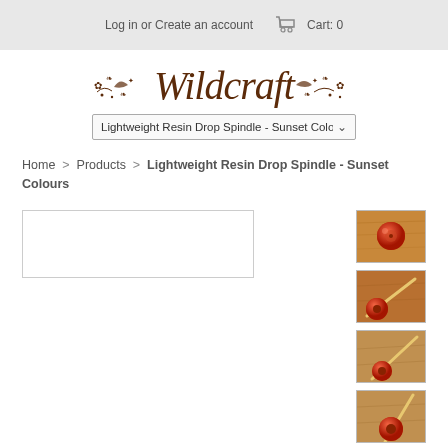Log in or Create an account   Cart: 0
[Figure (logo): Wildcraft store logo in dark brown serif italic script with decorative floral swirl ornaments]
Lightweight Resin Drop Spindle - Sunset Colou... (dropdown)
Home > Products > Lightweight Resin Drop Spindle - Sunset Colours
[Figure (photo): Main product image area (white/blank placeholder)]
[Figure (photo): Thumbnail 1: Red resin whorl drop spindle on wooden background, top-down view]
[Figure (photo): Thumbnail 2: Red resin whorl drop spindle on wooden background, side view with stick]
[Figure (photo): Thumbnail 3: Red resin whorl drop spindle on wooden background, angled view]
[Figure (photo): Thumbnail 4: Red resin whorl drop spindle on wooden background, close-up view]